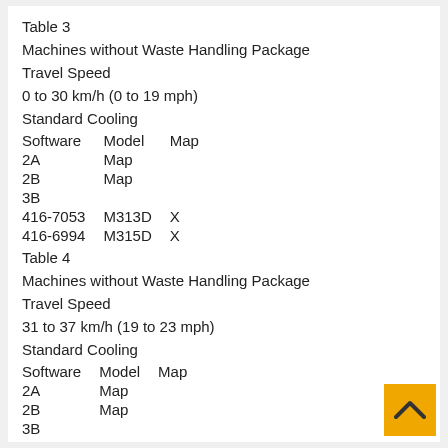Table 3
Machines without Waste Handling Package
Travel Speed
0 to 30 km/h (0 to 19 mph)
Standard Cooling
| Software | Model | Map |
| --- | --- | --- |
| 2A | Map |  |
| 2B | Map |  |
| 3B |  |  |
| 416-7053 | M313D | X |
| 416-6994 | M315D | X |
Table 4
Machines without Waste Handling Package
Travel Speed
31 to 37 km/h (19 to 23 mph)
Standard Cooling
| Software | Model | Map |
| --- | --- | --- |
| 2A | Map |  |
| 2B | Map |  |
| 3B |  |  |